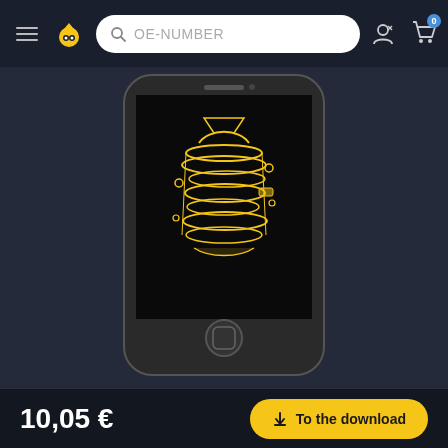OE-NUMBER search bar navigation with hamburger menu, Clonck logo, search, user icon, cart icon with badge 0
[Figure (screenshot): A smartphone (iPhone-style) displayed on a dark background showing an exploded-view illustration of car parts rendered in yellow/gold line art on a black screen]
[Figure (logo): Clonck brand logo: flame/owl icon in yellow-gold with text CLONCK in italic bold]
Made in Munich with ♥
10,05 €
To the download